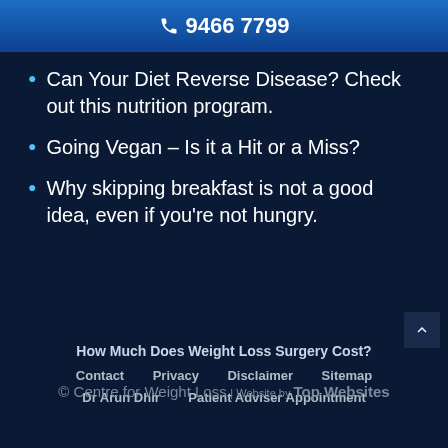9466 7799
Can Your Diet Reverse Disease? Check out this nutrition program.
Going Vegan – Is it a Hit or a Miss?
Why skipping breakfast is not a good idea, even if you're not hungry.
How Much Does Weight Loss Surgery Cost? Contact Privacy Disclaimer Sitemap Dr Arun Dhir Patient Adviser Appointment © Centre for Weight Loss | Website by Top Websites